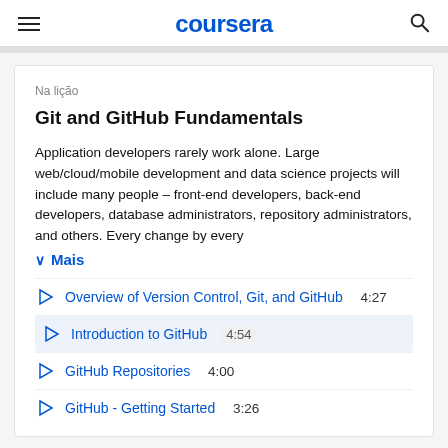coursera
Na lição
Git and GitHub Fundamentals
Application developers rarely work alone. Large web/cloud/mobile development and data science projects will include many people – front-end developers, back-end developers, database administrators, repository administrators, and others. Every change by every
Mais
Overview of Version Control, Git, and GitHub  4:27
Introduction to GitHub  4:54
GitHub Repositories  4:00
GitHub - Getting Started  3:26